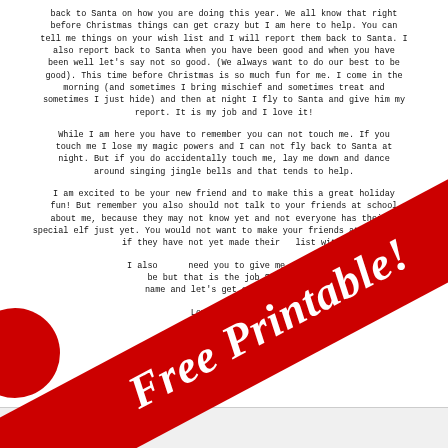back to Santa on how you are doing this year. We all know that right before Christmas things can get crazy but I am here to help. You can tell me things on your wish list and I will report them back to Santa. I also report back to Santa when you have been good and when you have been well let's say not so good. (We always want to do our best to be good). This time before Christmas is so much fun for me. I come in the morning (and sometimes I bring mischief and sometimes treat and sometimes I just hide) and then at night I fly to Santa and give him my report. It is my job and I love it!
While I am here you have to remember you can not touch me. If you touch me I lose my magic powers and I can not fly back to Santa at night. But if you do accidentally touch me, lay me down and dance around singing jingle bells and that tends to help.
I am excited to be your new friend and to make this a great holiday fun! But remember you also should not talk to your friends at school about me, because they may not know yet and not everyone has their own special elf just yet. You would not want to make your friends at school sad if they have not yet made their wish list with Santa.
I also need you to give me a name, it can be anything you like but that is the job Santa says you have to do. Give me a name and let's get our holiday fun started!
Love your elf
[Figure (illustration): Red diagonal 'Free Printable!' banner overlaid across the letter text, with a red circular blob in the bottom left corner.]